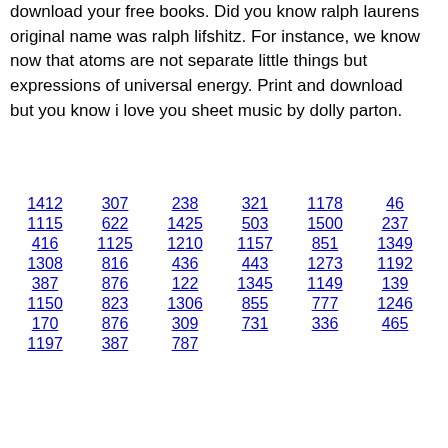download your free books. Did you know ralph laurens original name was ralph lifshitz. For instance, we know now that atoms are not separate little things but expressions of universal energy. Print and download but you know i love you sheet music by dolly parton.
1412
307
238
321
1178
46
1115
622
1425
503
1500
237
416
1125
1210
1157
851
1349
1308
816
436
443
1273
1192
387
876
122
1345
1149
139
1150
823
1306
855
777
1246
170
876
309
731
336
465
1197
387
787